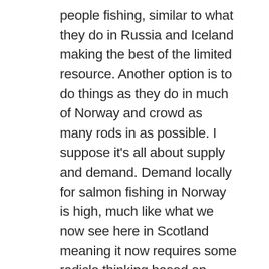people fishing, similar to what they do in Russia and Iceland making the best of the limited resource. Another option is to do things as they do in much of Norway and crowd as many rods in as possible. I suppose it's all about supply and demand. Demand locally for salmon fishing in Norway is high, much like what we now see here in Scotland meaning it now requires some radicle thinking based on knowledge of both the fishery and it's limitations, also, the expectations of those coming fish. The business has certainly changed, as has the status of the resource. Expectations of clients continue to do the same, so how we manage this must be flexible too.